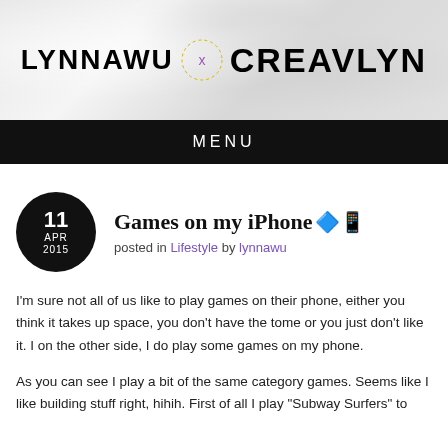[Figure (logo): Blog header banner with marble texture background showing 'LYNNAWU' on the left, a decorative circle with 'x' in the center, and 'CREAVLYN' on the right in bold black serif letters]
MENU
Games on my iPhone 📱
posted in Lifestyle by lynnawu
I'm sure not all of us like to play games on their phone, either you think it takes up space, you don't have the tome or you just don't like it. I on the other side, I do play some games on my phone.
As you can see I play a bit of the same category games. Seems like I like building stuff right, hihih. First of all I play "Subway Surfers" to